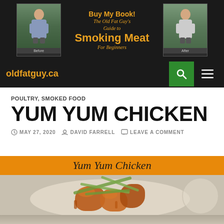[Figure (screenshot): Website header for oldfatguy.ca showing a book promotion banner with two photos of an older man (before and after), orange text reading 'Buy My Book! The Old Fat Guy's Guide to Smoking Meat For Beginners' on black background, and a navigation bar with the site name in orange, a green search button, and a hamburger menu icon.]
POULTRY, SMOKED FOOD
YUM YUM CHICKEN
MAY 27, 2020  DAVID FARRELL  LEAVE A COMMENT
[Figure (photo): Food photo with orange banner header reading 'Yum Yum Chicken' in italic script, below which is a photo of glazed chicken pieces topped with sliced green onions on a plate.]